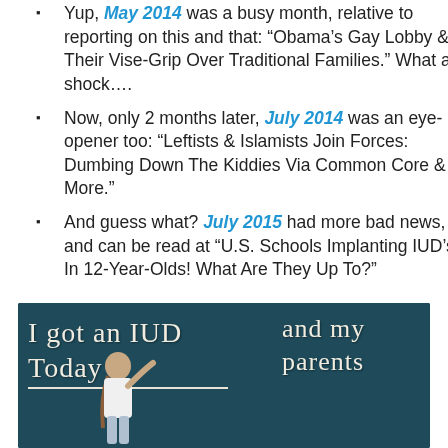Yup, May 2014 was a busy month, relative to reporting on this and that: “Obama’s Gay Lobby & Their Vise-Grip Over Traditional Families.” What a shock….
Now, only 2 months later, July 2014 was an eye-opener too: “Leftists & Islamists Join Forces: Dumbing Down The Kiddies Via Common Core & More.”
And guess what? July 2015 had more bad news, and can be read at “U.S. Schools Implanting IUD’s In 12-Year-Olds! What Are They Up To?”
[Figure (photo): Photo of a young girl with braids writing on a dark chalkboard. The chalkboard text reads: 'I got an IUD Today and my parents' (continuing below visible area). The image has a dark teal/navy chalkboard background.]